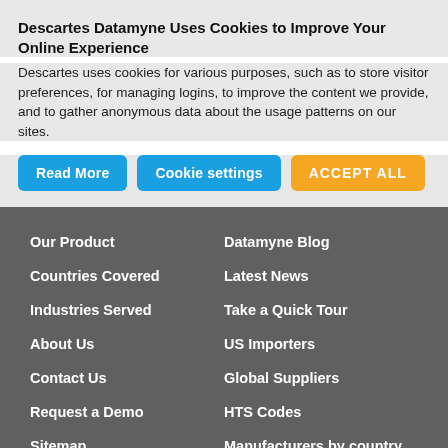Descartes Datamyne Uses Cookies to Improve Your Online Experience
Descartes uses cookies for various purposes, such as to store visitor preferences, for managing logins, to improve the content we provide, and to gather anonymous data about the usage patterns on our sites.
Read More
Cookie settings
ACCEPT ALL
Our Product
Datamyne Blog
Countries Covered
Latest News
Industries Served
Take a Quick Tour
About Us
US Importers
Contact Us
Global Suppliers
Request a Demo
HTS Codes
Sitemap
Manufacturers by country